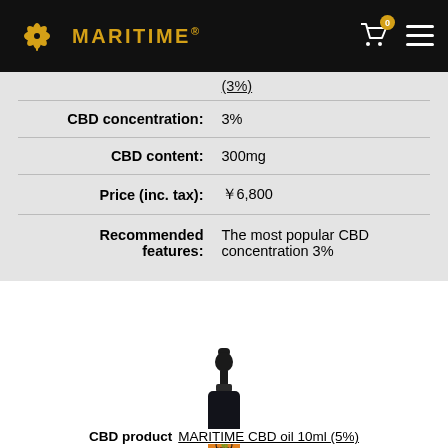MARITIME (logo/nav bar)
| Label | Value |
| --- | --- |
|  | (3%) |
| CBD concentration: | 3% |
| CBD content: | 300mg |
| Price (inc. tax): | ￥6,800 |
| Recommended features: | The most popular CBD concentration 3% |
[Figure (photo): Dark glass dropper bottle of MARITIME CBD oil with orange label]
CBD product  MARITIME CBD oil 10ml (5%)